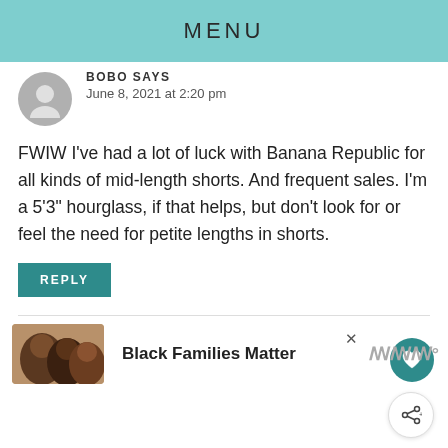MENU
BOBO SAYS
June 8, 2021 at 2:20 pm
FWIW I've had a lot of luck with Banana Republic for all kinds of mid-length shorts. And frequent sales. I'm a 5'3" hourglass, if that helps, but don't look for or feel the need for petite lengths in shorts.
REPLY
[Figure (other): Close X button and ad bar at bottom with photo of three people and bold text 'Black Families Matter' and logo]